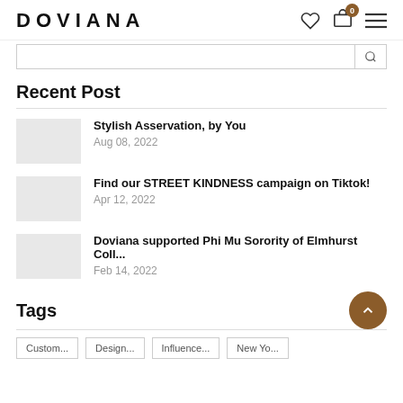DOVIANA
Recent Post
Stylish Asservation, by You
Aug 08, 2022
Find our STREET KINDNESS campaign on Tiktok!
Apr 12, 2022
Doviana supported Phi Mu Sorority of Elmhurst Coll...
Feb 14, 2022
Tags